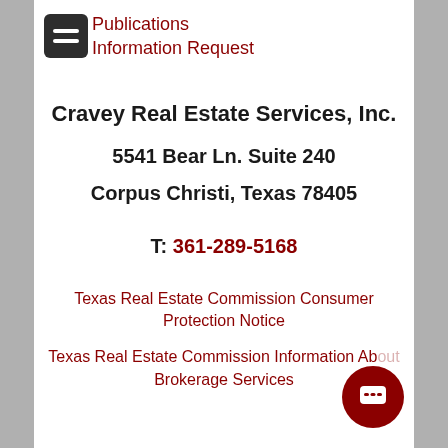Publications Information Request
Cravey Real Estate Services, Inc.
5541 Bear Ln. Suite 240
Corpus Christi, Texas 78405
T: 361-289-5168
Texas Real Estate Commission Consumer Protection Notice
Texas Real Estate Commission Information About Brokerage Services